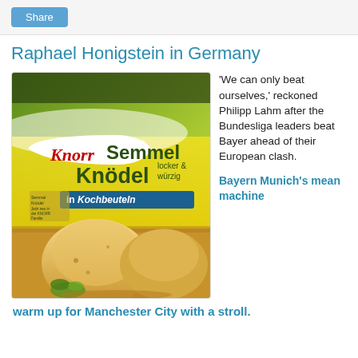Share
Raphael Honigstein in Germany
[Figure (photo): Knorr Semmel Knödel locker & würzig in Kochbeuteln product box with bread dumplings on a wooden board]
'We can only beat ourselves,' reckoned Philipp Lahm after the Bundesliga leaders beat Bayer ahead of their European clash.
Bayern Munich's mean machine warm up for Manchester City with a stroll.